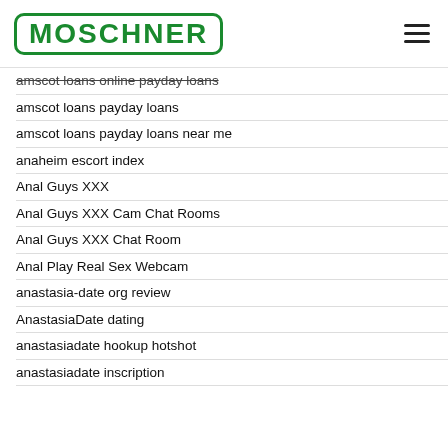MOSCHNER
amscot loans online payday loans
amscot loans payday loans
amscot loans payday loans near me
anaheim escort index
Anal Guys XXX
Anal Guys XXX Cam Chat Rooms
Anal Guys XXX Chat Room
Anal Play Real Sex Webcam
anastasia-date org review
AnastasiaDate dating
anastasiadate hookup hotshot
anastasiadate inscription